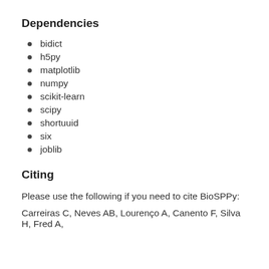Dependencies
bidict
h5py
matplotlib
numpy
scikit-learn
scipy
shortuuid
six
joblib
Citing
Please use the following if you need to cite BioSPPy:
Carreiras C, Neves AB, Lourenço A, Canento F, Silva H, Fred A,